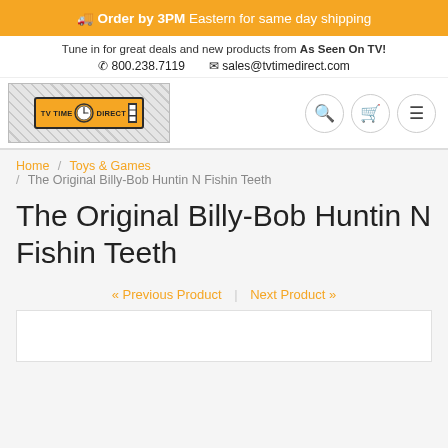🚚 Order by 3PM Eastern for same day shipping
Tune in for great deals and new products from As Seen On TV!
📞 800.238.7119  ✉ sales@tvtimedirect.com
[Figure (logo): TV Time Direct logo with clock graphic on hatched background]
Home / Toys & Games / The Original Billy-Bob Huntin N Fishin Teeth
The Original Billy-Bob Huntin N Fishin Teeth
« Previous Product  |  Next Product »